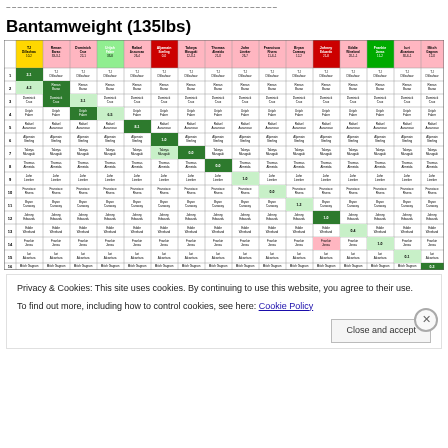~~~~~~~~~~~~~~~~~~~~~~~~~~~~~~~~~~~~~~~~~~~~~~~~
Bantamweight (135lbs)
[Figure (table-as-image): UFC Bantamweight rankings grid showing fighter matchups with colored cells indicating win/loss records. Fighters include TJ Dillashaw, Renan Barao, Dominick Cruz, Urijah Faber, Rafael Assuncao, Aljamain Sterling, Takeya Mizugaki, Thomas Almeida, John Lineker, Francisco Rivera, Bryan Caraway, Johnny Eduardo, Eddie Wineland, Frankie Jonas, Iuri Alcantara, Mitch Gagnon.]
Privacy & Cookies: This site uses cookies. By continuing to use this website, you agree to their use.
To find out more, including how to control cookies, see here: Cookie Policy
Close and accept